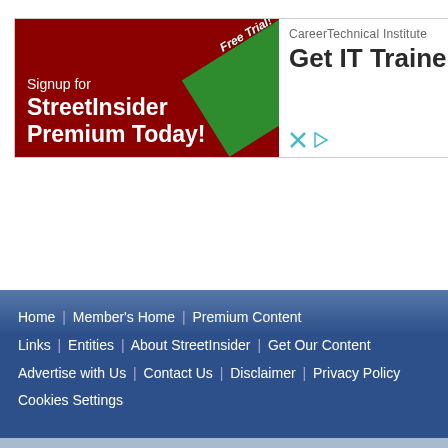[Figure (screenshot): Advertisement banner split into two parts: left side is dark red with a green corner ribbon saying 'Free Trial!' and white text 'Signup for StreetInsider Premium Today!'; right side is white with gray text 'CareerTechnical Institute' and large bold text 'Get IT Traine']
Home  Member's Home  Premium Content  Links  Entities  About StreetInsider  Get Our Content  Advertise with Us  Contact Us  Disclaimer  Privacy Policy  Cookies Settings